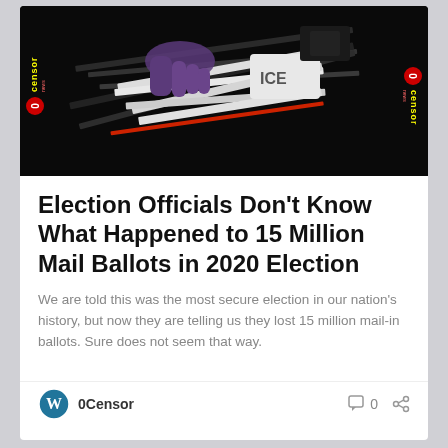[Figure (photo): Dark close-up photo of mail ballots/envelopes being handled with purple gloves, with 0Censor News watermark logos on left and right sides]
Election Officials Don't Know What Happened to 15 Million Mail Ballots in 2020 Election
We are told this was the most secure election in our nation's history, but now they are telling us they lost 15 million mail-in ballots. Sure does not seem that way.
0Censor  0  [share]